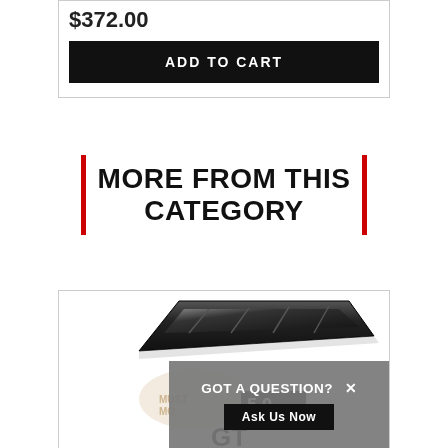$372.00
ADD TO CART
MORE FROM THIS CATEGORY
[Figure (photo): Black automotive grille/spoiler part and car emblems including '5.0' and 'GT' badges, with Mustang Mods watermark logo visible in background]
GOT A QUESTION?
Ask Us Now